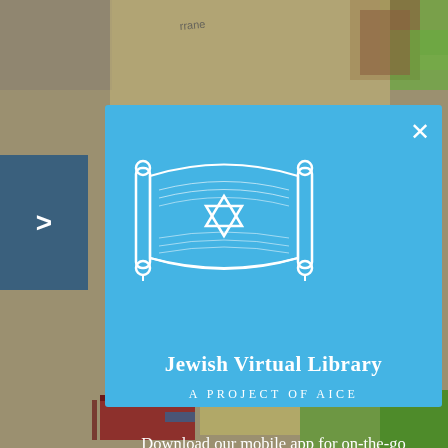[Figure (screenshot): Website screenshot showing a modal popup from Jewish Virtual Library over a background map image. The modal has a light blue background with a Torah scroll logo featuring a Star of David, the organization name and tagline, and a message about downloading the mobile app.]
Jewish Virtual Library
A Project of AICE
Download our mobile app for on-the-go access to the Jewish Virtual Library